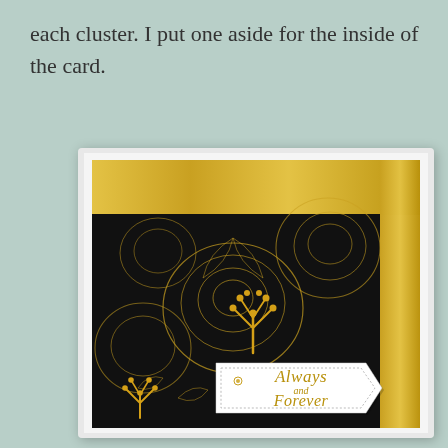each cluster. I put one aside for the inside of the card.
[Figure (photo): A handmade greeting card with black background featuring gold foil floral outlines of peonies and roses, a gold brushed texture border, a gold botanical sprig embellishment, and a white die-cut tag label reading 'Always and Forever' in gold script lettering.]